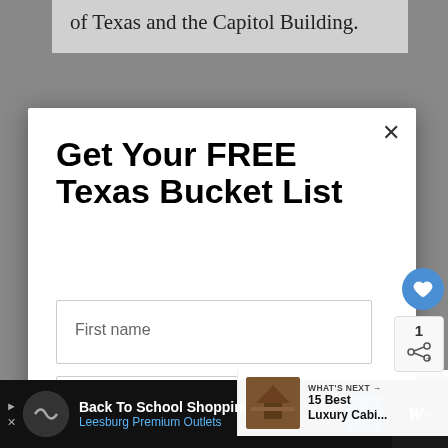of Texas and the Capitol Building.
Get Your FREE Texas Bucket List
First name
Email address
Subscribe
1
WHAT'S NEXT → 15 Best Luxury Cabi...
Back To School Shopping Deals Leesburg Premium Outlets